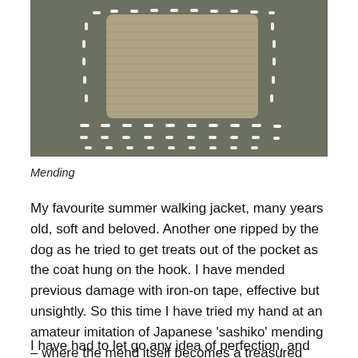[Figure (photo): Close-up photograph of a fabric jacket being mended with Japanese sashiko-style stitching. White running stitches are visible on a grey/green denim or canvas fabric, with a lighter woven patch reinforcing a torn area in the centre.]
Mending
My favourite summer walking jacket, many years old, soft and beloved. Another one ripped by the dog as he tried to get treats out of the pocket as the coat hung on the hook. I have mended previous damage with iron-on tape, effective but unsightly. So this time I have tried my hand at an amateur imitation of Japanese 'sashiko' mending – where the mend itself becomes a treasured part of the garment.
I have had to let go any idea of perfection, and accept